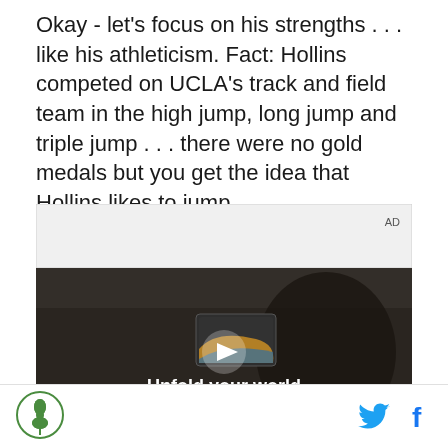Okay - let's focus on his strengths . . . like his athleticism. Fact: Hollins competed on UCLA's track and field team in the high jump, long jump and triple jump . . . there were no gold medals but you get the idea that Hollins likes to jump.
[Figure (screenshot): Advertisement video player showing a person holding a Samsung foldable phone in a car interior, with text 'Unfold your world' and a play button overlay. AD label in top right.]
[Figure (logo): SB Nation green clover logo in a circle, bottom left footer]
[Figure (other): Twitter bird icon and Facebook f icon in blue, bottom right footer]